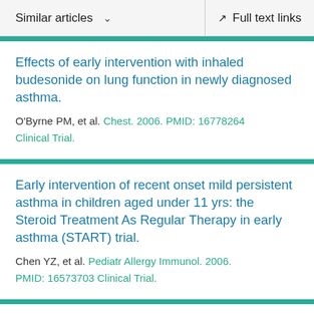Similar articles  ∨    Full text links
Effects of early intervention with inhaled budesonide on lung function in newly diagnosed asthma.
O'Byrne PM, et al. Chest. 2006. PMID: 16778264
Clinical Trial.
Early intervention of recent onset mild persistent asthma in children aged under 11 yrs: the Steroid Treatment As Regular Therapy in early asthma (START) trial.
Chen YZ, et al. Pediatr Allergy Immunol. 2006.
PMID: 16573703 Clinical Trial.
Lessons learned from clinical trials of asthma